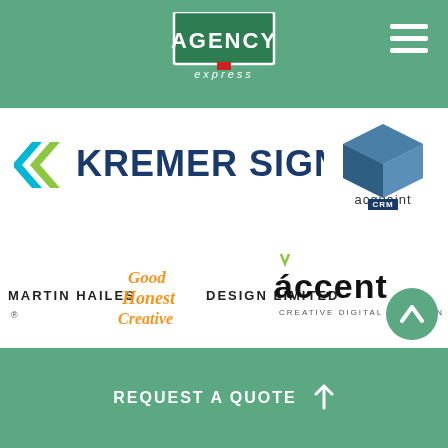[Figure (logo): Agency Express logo in header bar with green background]
[Figure (logo): Kremer Signs logo with cyan chevron icon and bold text]
[Figure (logo): Acquaint CRM logo with blue box icon]
[Figure (logo): Martin Hailes Good Honest Creative Design Limited logo]
[Figure (logo): Accent Creative Digital Solutions logo]
[Figure (logo): Apex27 logo with dark blue text and white box for 27]
REQUEST A QUOTE